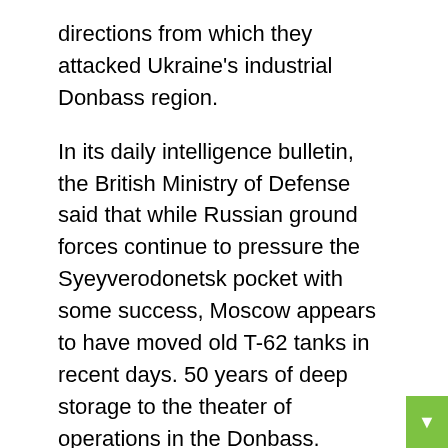directions from which they attacked Ukraine's industrial Donbass region.
In its daily intelligence bulletin, the British Ministry of Defense said that while Russian ground forces continue to pressure the Syeyverodonetsk pocket with some success, Moscow appears to have moved old T-62 tanks in recent days. 50 years of deep storage to the theater of operations in the Donbass.
The report assessed that this decision proves Russia's shortage of modern, combat-ready equipment. Additionally, “T-62s will almost certainly be particularly vulnerable to anti-tank weapons and their presence on the battlefield”,